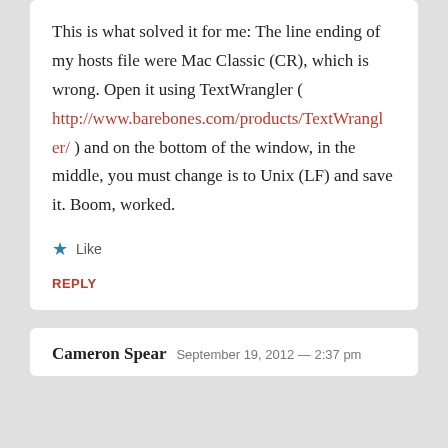This is what solved it for me: The line ending of my hosts file were Mac Classic (CR), which is wrong. Open it using TextWrangler ( http://www.barebones.com/products/TextWrangler/ ) and on the bottom of the window, in the middle, you must change is to Unix (LF) and save it. Boom, worked.
★ Like
REPLY
Cameron Spear  September 19, 2012 — 2:37 pm